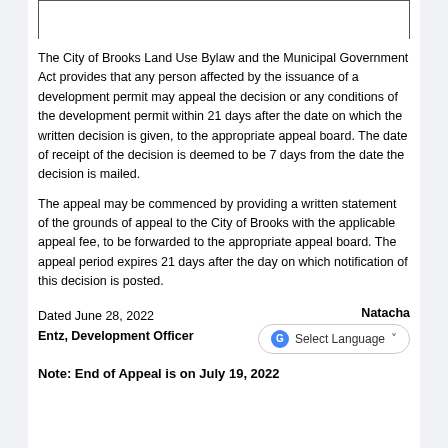The City of Brooks Land Use Bylaw and the Municipal Government Act provides that any person affected by the issuance of a development permit may appeal the decision or any conditions of the development permit within 21 days after the date on which the written decision is given, to the appropriate appeal board. The date of receipt of the decision is deemed to be 7 days from the date the decision is mailed.
The appeal may be commenced by providing a written statement of the grounds of appeal to the City of Brooks with the applicable appeal fee, to be forwarded to the appropriate appeal board. The appeal period expires 21 days after the day on which notification of this decision is posted.
Dated June 28, 2022    Natacha Entz, Development Officer
Note: End of Appeal is on July 19, 2022